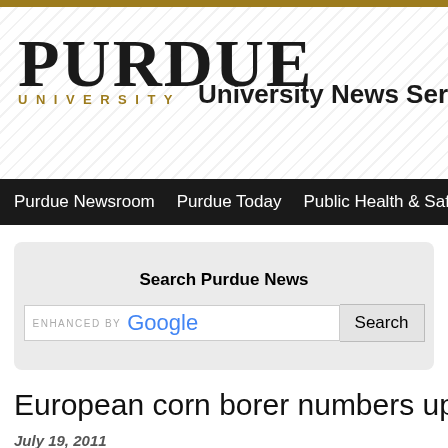PURDUE UNIVERSITY — University News Service
Purdue Newsroom | Purdue Today | Public Health & Safety | M…
Search Purdue News
European corn borer numbers up this ye…
July 19, 2011
WEST LAFAYETTE, Ind. - Reports of European corn borer damage have increas… Purdue Extension entomologist says there is little cause for alarm.
European corn borers devastated fields in the 1990s, but the development of a ge… hybrid called Bt-corn greatly reduced the pest's numbers. There have been very f… European corn borer in recent years, said Christian Krupke.